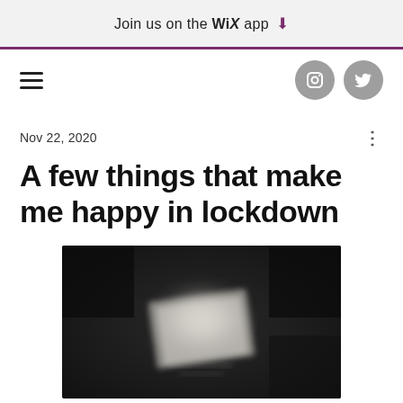Join us on the WiX app ⬇
[Figure (screenshot): Navigation bar with hamburger menu icon on left and Instagram and Twitter social media icons on right]
Nov 22, 2020
A few things that make me happy in lockdown
[Figure (photo): Blurred photo with dark background and a white or light-colored object in the center, possibly a book or card]